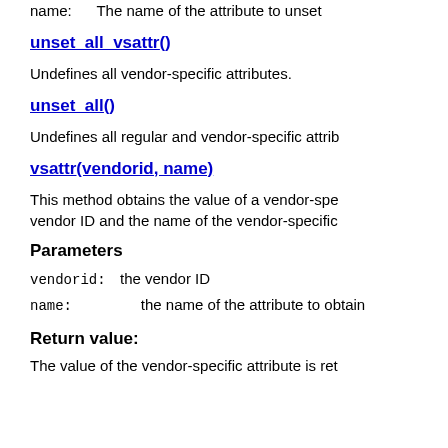name:      The name of the attribute to unset
unset_all_vsattr()
Undefines all vendor-specific attributes.
unset_all()
Undefines all regular and vendor-specific attrib
vsattr(vendorid, name)
This method obtains the value of a vendor-specific attribute. It takes the vendor ID and the name of the vendor-specific attribute.
Parameters
vendorid: the vendor ID
name:      the name of the attribute to obtain
Return value:
The value of the vendor-specific attribute is returned.